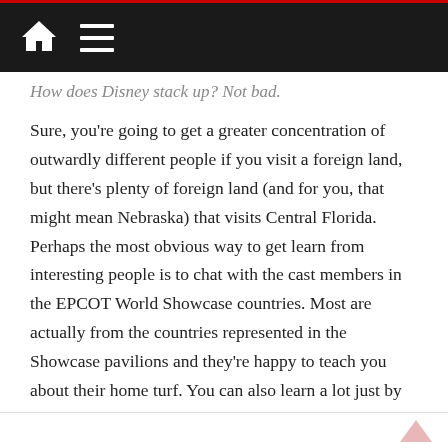How does Disney stack up? Not bad.
Sure, you're going to get a greater concentration of outwardly different people if you visit a foreign land, but there's plenty of foreign land (and for you, that might mean Nebraska) that visits Central Florida. Perhaps the most obvious way to get learn from interesting people is to chat with the cast members in the EPCOT World Showcase countries. Most are actually from the countries represented in the Showcase pavilions and they're happy to teach you about their home turf. You can also learn a lot just by chatting with the other guests you meet in lines and sitting by the pool.
Enhanced Relationships with Travel Companions
How does Disney stack up? Pretty well.